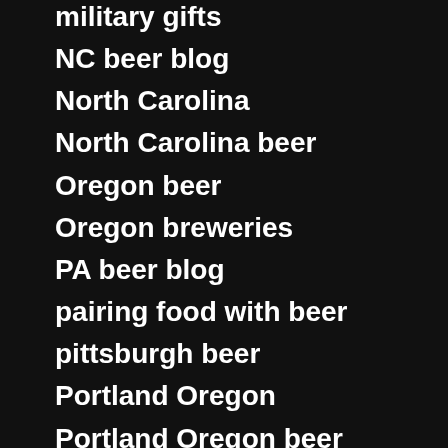military gifts
NC beer blog
North Carolina
North Carolina beer
Oregon beer
Oregon breweries
PA beer blog
pairing food with beer
pittsburgh beer
Portland Oregon
Portland Oregon beer
pumpkin beer
pumpkin beer list
SAVOR
SAVOR 2015
SAVOR DC
Saxapahaw